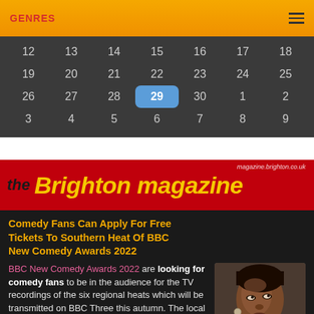GENRES
| 12 | 13 | 14 | 15 | 16 | 17 | 18 |
| 19 | 20 | 21 | 22 | 23 | 24 | 25 |
| 26 | 27 | 28 | 29 | 30 | 1 | 2 |
| 3 | 4 | 5 | 6 | 7 | 8 | 9 |
[Figure (logo): The Brighton Magazine logo on red background with yellow italic text]
Comedy Fans Can Apply For Free Tickets To Southern Heat Of BBC New Comedy Awards 2022
BBC New Comedy Awards 2022 are looking for comedy fans to be in the audience for the TV recordings of the six regional heats which will be transmitted on BBC Three this autumn. The local heat will feature five comics from the South.
[Figure (photo): A woman looking upward, close-up portrait]